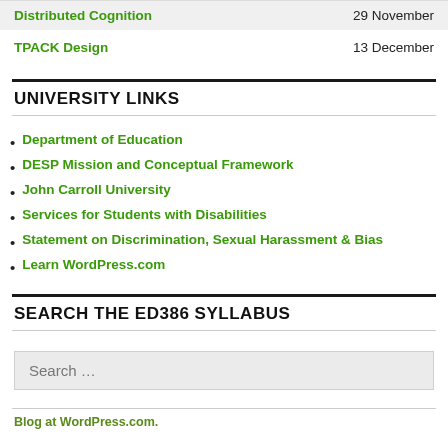| Topic | Date |
| --- | --- |
| Distributed Cognition | 29 November |
| TPACK Design | 13 December |
UNIVERSITY LINKS
Department of Education
DESP Mission and Conceptual Framework
John Carroll University
Services for Students with Disabilities
Statement on Discrimination, Sexual Harassment & Bias
Learn WordPress.com
SEARCH THE ED386 SYLLABUS
Search …
Blog at WordPress.com.